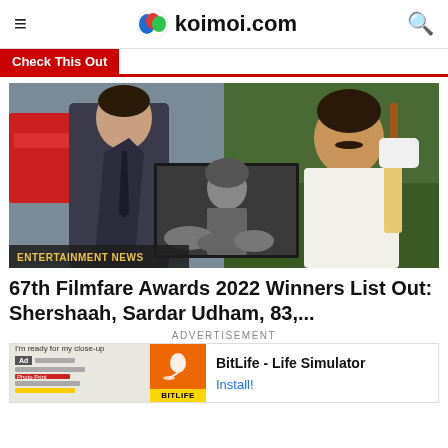koimoi.com
Check This Out
[Figure (photo): Composite image showing Bollywood film stills: actor in suit on left (Shershaah), cricket player batting on right (83), and military soldier in center overlay (Sardar Udham). Entertainment News label visible at bottom.]
67th Filmfare Awards 2022 Winners List Out: Shershaah, Sardar Udham, 83,...
ADVERTISEMENT
[Figure (screenshot): Advertisement for BitLife - Life Simulator app with Install button link]